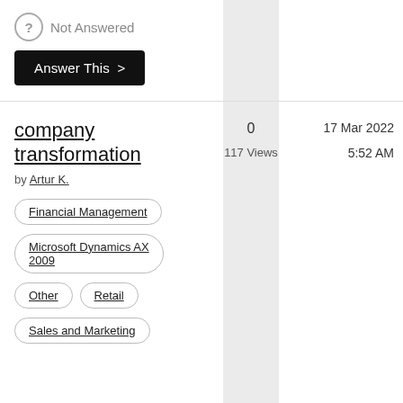Not Answered
Answer This >
company transformation
by Artur K.
0
117 Views
17 Mar 2022
5:52 AM
Financial Management
Microsoft Dynamics AX 2009
Other
Retail
Sales and Marketing